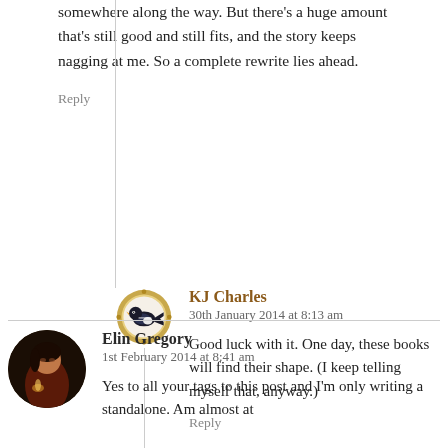somewhere along the way. But there's a huge amount that's still good and still fits, and the story keeps nagging at me. So a complete rewrite lies ahead.
Reply
KJ Charles
30th January 2014 at 8:13 am
Good luck with it. One day, these books will find their shape. (I keep telling myself that, anyway.)
Reply
Elin Gregory
1st February 2014 at 8:41 am
Yes to all your tags to this post and I'm only writing a standalone. Am almost at